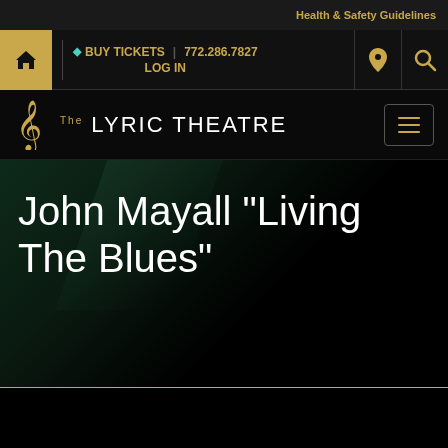Health & Safety Guidelines
BUY TICKETS | 772.286.7827 | LOG IN
[Figure (logo): The Lyric Theatre logo with treble clef icon and text 'The LYRIC THEATRE']
John Mayall "Living The Blues"